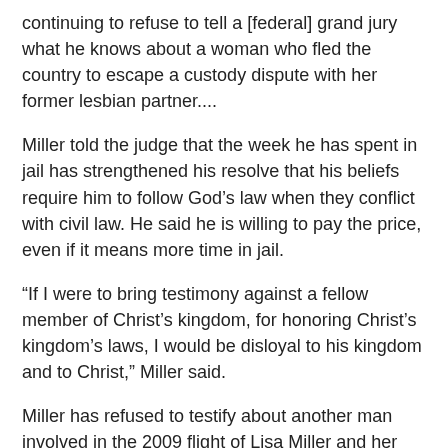continuing to refuse to tell a [federal] grand jury what he knows about a woman who fled the country to escape a custody dispute with her former lesbian partner....
Miller told the judge that the week he has spent in jail has strengthened his resolve that his beliefs require him to follow God’s law when they conflict with civil law. He said he is willing to pay the price, even if it means more time in jail.
“If I were to bring testimony against a fellow member of Christ’s kingdom, for honoring Christ’s kingdom’s laws, I would be disloyal to his kingdom and to Christ,” Miller said.
Miller has refused to testify about another man involved in the 2009 flight of Lisa Miller and her daughter, Isabella, rather than allow the girl to spend time with Lisa Miller’s ex-partner. The Millers are not related.